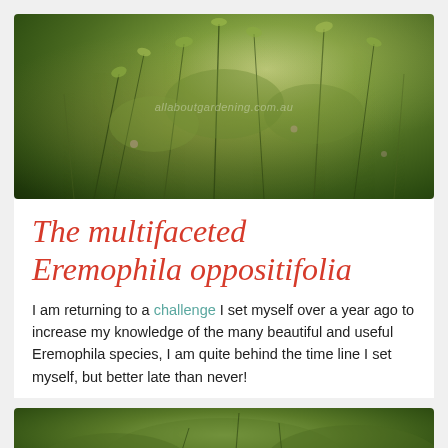[Figure (photo): Close-up photograph of Eremophila oppositifolia plant with fine stems and small leaves in green and yellow-green tones, with a watermark partially visible in the center]
The multifaceted Eremophila oppositifolia
I am returning to a challenge I set myself over a year ago to increase my knowledge of the many beautiful and useful Eremophila species, I am quite behind the time line I set myself, but better late than never!
[Figure (photo): Partial photograph of Eremophila plant with blurred green foliage visible at bottom of page]